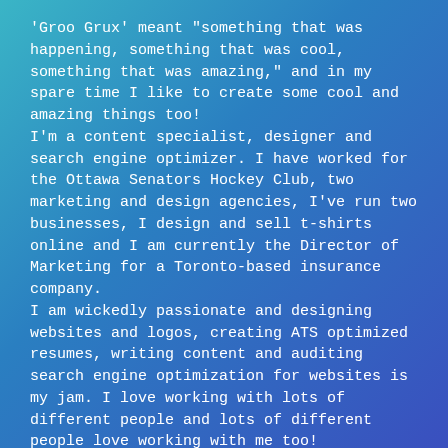'Groo Grux' meant "something that was happening, something that was cool, something that was amazing," and in my spare time I like to create some cool and amazing things too!
I'm a content specialist, designer and search engine optimizer. I have worked for the Ottawa Senators Hockey Club, two marketing and design agencies, I've run two businesses, I design and sell t-shirts online and I am currently the Director of Marketing for a Toronto-based insurance company.
I am wickedly passionate and designing websites and logos, creating ATS optimized resumes, writing content and auditing search engine optimization for websites is my jam. I love working with lots of different people and lots of different people love working with me too!